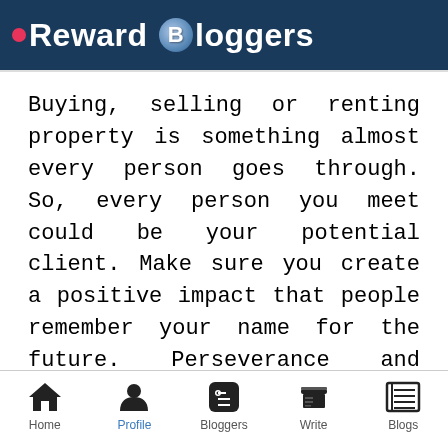Reward Bloggers
Buying, selling or renting property is something almost every person goes through. So, every person you meet could be your potential client. Make sure you create a positive impact that people remember your name for the future. Perseverance and patience will surely pay. Get in touch with developers for whom you can act as agents. You may use the online portal as a great source to get contacts of various
Home | Profile | Bloggers | Write | Blogs